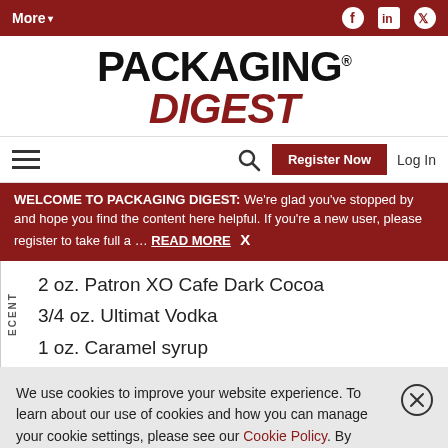More▾
PACKAGING DIGEST
Register Now | Log In
WELCOME TO PACKAGING DIGEST: We're glad you've stopped by and hope you find the content here helpful. If you're a new user, please register to take full a … READ MORE X
2 oz. Patron XO Cafe Dark Cocoa
3/4 oz. Ultimat Vodka
1 oz. Caramel syrup
We use cookies to improve your website experience. To learn about our use of cookies and how you can manage your cookie settings, please see our Cookie Policy. By continuing to use the website, you consent to our use of cookies.